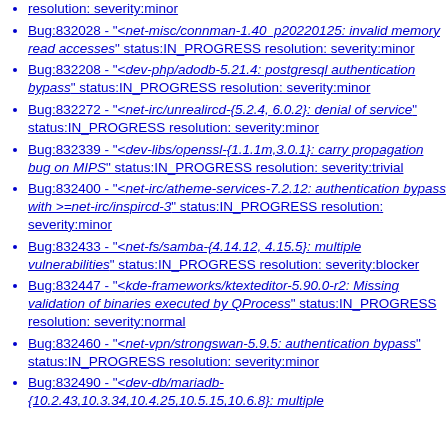resolution: severity:minor
Bug:832028 - "<net-misc/connman-1.40_p20220125: invalid memory read accesses" status:IN_PROGRESS resolution: severity:minor
Bug:832208 - "<dev-php/adodb-5.21.4: postgresql authentication bypass" status:IN_PROGRESS resolution: severity:minor
Bug:832272 - "<net-irc/unrealircd-{5.2.4, 6.0.2}: denial of service" status:IN_PROGRESS resolution: severity:minor
Bug:832339 - "<dev-libs/openssl-{1.1.1m,3.0.1}: carry propagation bug on MIPS" status:IN_PROGRESS resolution: severity:trivial
Bug:832400 - "<net-irc/atheme-services-7.2.12: authentication bypass with >=net-irc/inspircd-3" status:IN_PROGRESS resolution: severity:minor
Bug:832433 - "<net-fs/samba-{4.14.12, 4.15.5}: multiple vulnerabilities" status:IN_PROGRESS resolution: severity:blocker
Bug:832447 - "<kde-frameworks/ktexteditor-5.90.0-r2: Missing validation of binaries executed by QProcess" status:IN_PROGRESS resolution: severity:normal
Bug:832460 - "<net-vpn/strongswan-5.9.5: authentication bypass" status:IN_PROGRESS resolution: severity:minor
Bug:832490 - "<dev-db/mariadb-{10.2.43,10.3.34,10.4.25,10.5.15,10.6.8}: multiple